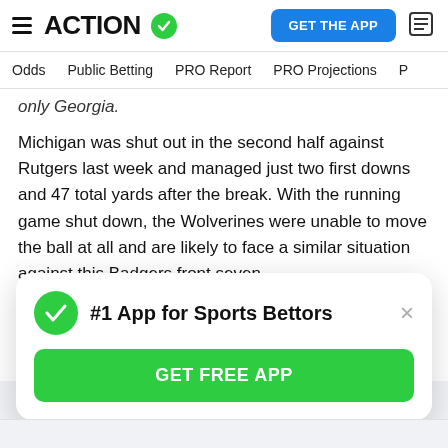ACTION — GET THE APP
Odds | Public Betting | PRO Report | PRO Projections
only Georgia.
Michigan was shut out in the second half against Rutgers last week and managed just two first downs and 47 total yards after the break. With the running game shut down, the Wolverines were unable to move the ball at all and are likely to face a similar situation against this Badgers front seven.
Sure, Michigan has looked pretty good so far this season. But this is what Michigan does. It beats up on the bad teams and then loses to better competition.
#1 App for Sports Bettors
GET FREE APP